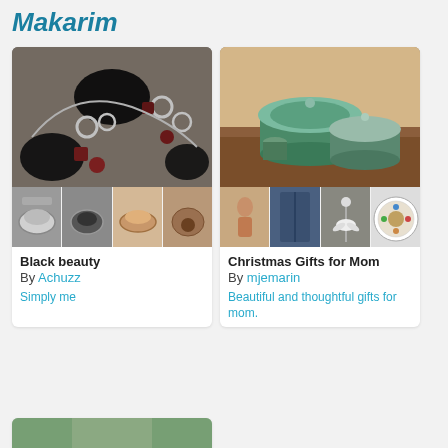Makarim
[Figure (photo): Jewelry collection card showing a black gemstone bracelet with garnet stones, with four thumbnail images below showing rings and jewelry pieces. Title: Black beauty, By Achuzz]
Black beauty
By Achuzz
Simply me
[Figure (photo): Decorative boxes collection card showing ornate green patina lidded boxes on a wooden surface, with four thumbnail images below showing figurines, jeans, bird pendant, and decorative plate. Title: Christmas Gifts for Mom, By mjemarin]
Christmas Gifts for Mom
By mjemarin
Beautiful and thoughtful gifts for mom.
[Figure (photo): Partial view of a third card at the bottom of the page, showing a blurred greenish image.]